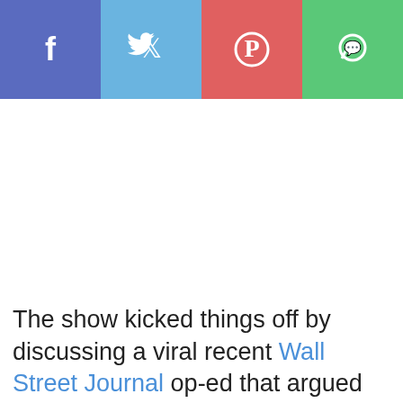[Figure (screenshot): Social media share toolbar with Facebook, Twitter, Pinterest, WhatsApp buttons and a NEXT > button]
The show kicked things off by discussing a viral recent Wall Street Journal op-ed that argued against people being expected to take off their shoes in other people's homes.